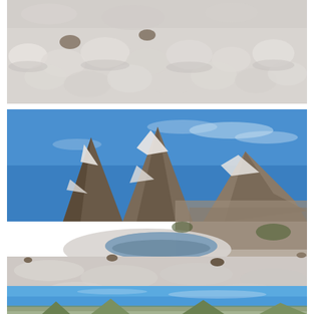[Figure (photo): Close-up photograph of snow surface with rounded, bubbly texture and some rocks visible, partial view cropped at top of page]
[Figure (photo): Wide landscape photograph of Whitebark Pass showing jagged granite mountain peaks with snow patches, a small alpine lake in the middle ground, and a large snow field in the foreground under a bright blue sky with wispy clouds]
As I got closer, I got a good view of Whitebark Pass.
[Figure (photo): Partial view of a mountain scene with bright blue sky, cropped at the bottom of the page]